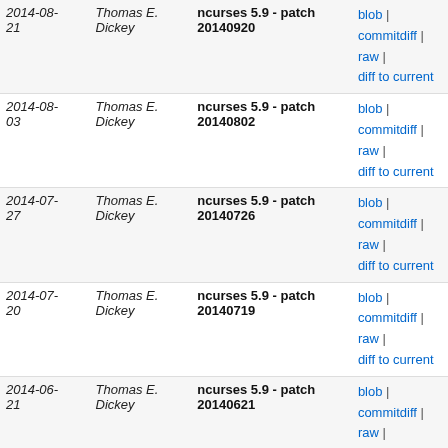| Date | Author | Commit | Links |
| --- | --- | --- | --- |
| 2014-08-21 | Thomas E. Dickey | ncurses 5.9 - patch 20140920 | blob | commitdiff | raw | diff to current |
| 2014-08-03 | Thomas E. Dickey | ncurses 5.9 - patch 20140802 | blob | commitdiff | raw | diff to current |
| 2014-07-27 | Thomas E. Dickey | ncurses 5.9 - patch 20140726 | blob | commitdiff | raw | diff to current |
| 2014-07-20 | Thomas E. Dickey | ncurses 5.9 - patch 20140719 | blob | commitdiff | raw | diff to current |
| 2014-06-21 | Thomas E. Dickey | ncurses 5.9 - patch 20140621 | blob | commitdiff | raw | diff to current |
| 2014-06-07 | Thomas E. Dickey | ncurses 5.9 - patch 20140607 | blob | commitdiff | raw | diff to current |
| 2014-05-25 | Thomas E. Dickey | ncurses 5.9 - patch 20140524 | blob | commitdiff | raw | diff to current |
| 2014-05-11 | Thomas E. Dickey | ncurses 5.9 - patch 20140510 | blob | commitdiff | raw | diff to current |
| 2014-04-13 | Thomas E. Dickey | ncurses 5.9 - patch 20140412 | blob | commitdiff | raw | diff to current |
| 2014-02-10 | Thomas E. Dickey | ncurses 5.9 - patch 20140209 | blob | commitdiff | raw | diff to current |
| 2013-11-24 | Thomas E. Dickey | ncurses 5.9 - patch 20131123 | blob | commitdiff | raw | diff to current |
| 2013-11-17 | Thomas E. Dickey | ncurses 5.9 - patch 20131116 | blob | commitdiff | raw | diff to current |
| 2013-10-14 | Thomas E. Dickey | ncurses 5.9 - patch 20131014 | blob | commitdiff | raw | diff to current |
| 2013-10- | Thomas E. Dickey | ncurses 5.9 - patch | blob | commitdiff | raw | diff to current |